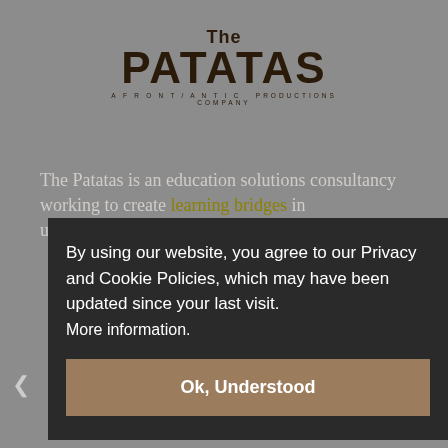[Figure (logo): The Patatas logo — 'The' in small text above large bold 'PaTaTaS' with subtitle 'A FRONT/ANTIC PRODUCTIONS COMPANY']
The Patatas is an education solutions consultancy working to create learning bridges in underrepresented Southeast
By using our website, you agree to our Privacy and Cookie Policies, which may have been updated since your last visit. More information.
Ok, Understood